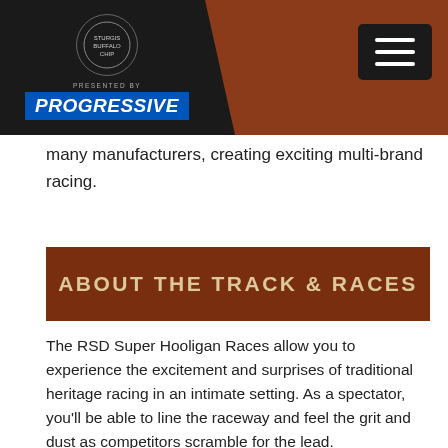Sturgis Buffalo Chip - Presented by Progressive
many manufacturers, creating exciting multi-brand racing.
ABOUT THE TRACK & RACES
The RSD Super Hooligan Races allow you to experience the excitement and surprises of traditional heritage racing in an intimate setting. As a spectator, you'll be able to line the raceway and feel the grit and dust as competitors scramble for the lead.
[Figure (photo): Racing photo showing motorcycle racers wearing helmets and racing gear competing on a dirt track, with spectators and tents visible in the background.]